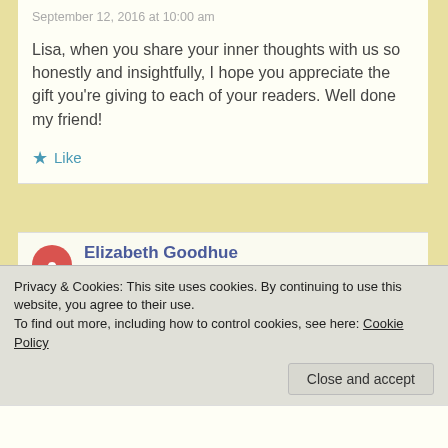September 12, 2016 at 10:00 am
Lisa, when you share your inner thoughts with us so honestly and insightfully, I hope you appreciate the gift you’re giving to each of your readers. Well done my friend!
★ Like
Elizabeth Goodhue
September 12, 2016 at 10:05 am
thanks Cindy.
Privacy & Cookies: This site uses cookies. By continuing to use this website, you agree to their use.
To find out more, including how to control cookies, see here: Cookie Policy
Close and accept